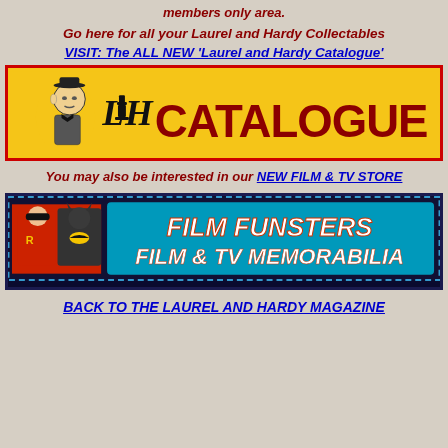members only area.
Go here for all your Laurel and Hardy Collectables
VISIT: The ALL NEW 'Laurel and Hardy Catalogue'
[Figure (illustration): Laurel and Hardy Catalogue banner with yellow background, red border, Stan Laurel illustration, LH logo, and CATALOGUE text in large dark red letters]
You may also be interested in our NEW FILM & TV STORE
[Figure (illustration): Film Funsters Film & TV Memorabilia banner with dark blue dotted border, teal background, Robin and Batman photo on left, white italic text on right]
BACK TO THE LAUREL AND HARDY MAGAZINE